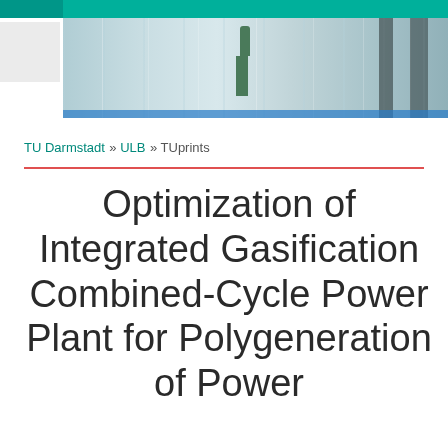[Figure (photo): Header photo of a modern building interior/exterior with glass facade and a person standing, with teal/green accent bar at top]
TU Darmstadt » ULB » TUprints
Optimization of Integrated Gasification Combined-Cycle Power Plant for Polygeneration of Power